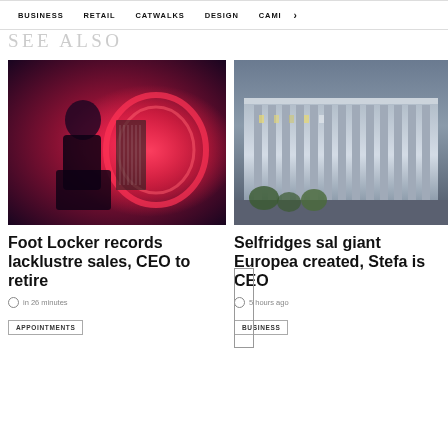BUSINESS   RETAIL   CATWALKS   DESIGN   CAMI  >
SEE ALSO
[Figure (photo): Woman sitting on floor in black outfit with neon heart light behind her, pink/red tones]
Foot Locker records lacklustre sales, CEO to retire
in 26 minutes
APPOINTMENTS
[Figure (photo): Aerial view of Selfridges department store building in London, dusk/evening lighting]
Selfridges sal giant Europea created, Stefa is CEO
5 hours ago
BUSINESS